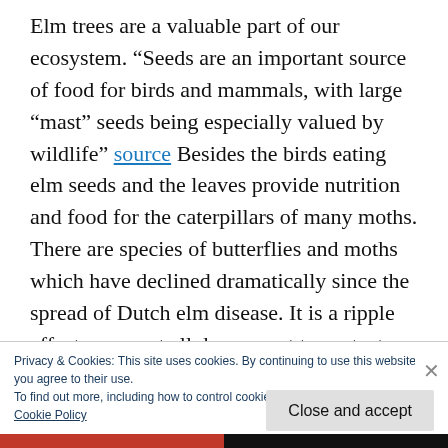Elm trees are a valuable part of our ecosystem. “Seeds are an important source of food for birds and mammals, with large “mast” seeds being especially valued by wildlife” source Besides the birds eating elm seeds and the leaves provide nutrition and food for the caterpillars of many moths. There are species of butterflies and moths which have declined dramatically since the spread of Dutch elm disease. It is a ripple effect, we must all do our part to protect species at risk, when DED is
Privacy & Cookies: This site uses cookies. By continuing to use this website, you agree to their use.
To find out more, including how to control cookies, see here:
Cookie Policy
Close and accept